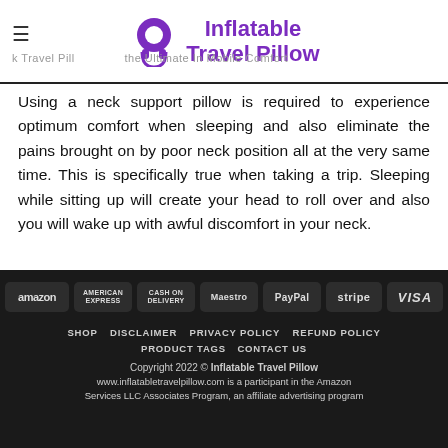Inflatable Travel Pillow
Using a neck support pillow is required to experience optimum comfort when sleeping and also eliminate the pains brought on by poor neck position all at the very same time. This is specifically true when taking a trip. Sleeping while sitting up will create your head to roll over and also you will wake up with awful discomfort in your neck.
[Figure (logo): Payment method logos: amazon, American Express, Cash on Delivery, Maestro, PayPal, Stripe, VISA]
SHOP  DISCLAIMER  PRIVACY POLICY  REFUND POLICY  PRODUCT TAGS  CONTACT US

Copyright 2022 © Inflatable Travel Pillow
www.inflatabletravelpillow.com is a participant in the Amazon Services LLC Associates Program, an affiliate advertising program